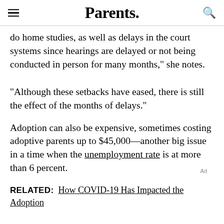Parents.
do home studies, as well as delays in the court systems since hearings are delayed or not being conducted in person for many months," she notes.
"Although these setbacks have eased, there is still the effect of the months of delays."
Adoption can also be expensive, sometimes costing adoptive parents up to $45,000—another big issue in a time when the unemployment rate is at more than 6 percent.
RELATED:  How COVID-19 Has Impacted the Adoption